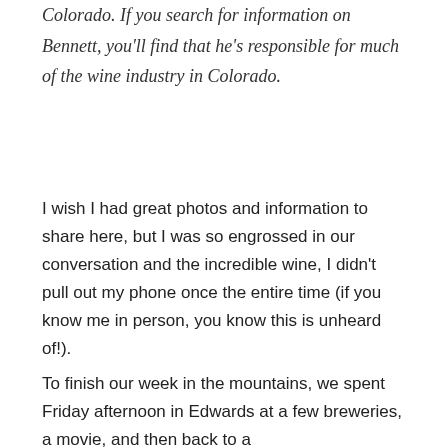Colorado. If you search for information on Bennett, you'll find that he's responsible for much of the wine industry in Colorado.
I wish I had great photos and information to share here, but I was so engrossed in our conversation and the incredible wine, I didn't pull out my phone once the entire time (if you know me in person, you know this is unheard of!).
To finish our week in the mountains, we spent Friday afternoon in Edwards at a few breweries, a movie, and then back to a